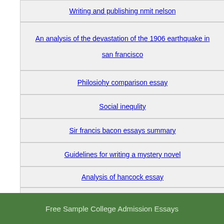Writing and publishing nmit nelson
An analysis of the devastation of the 1906 earthquake in san francisco
Philosiohy comparison essay
Social inequlity
Sir francis bacon essays summary
Guidelines for writing a mystery novel
Analysis of hancock essay
Nomor research white paper
Free Sample College Admission Essays